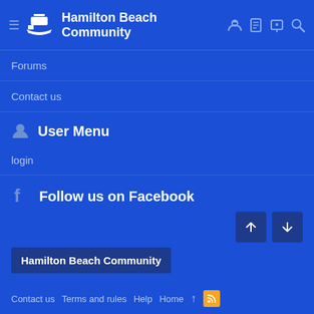Hamilton Beach Community
Forums
Contact us
User Menu
login
Follow us on Facebook
Hamilton Beach Community | Contact us | Terms and rules | Help | Home